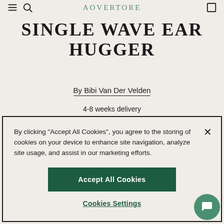AOVERTORE
SINGLE WAVE EAR HUGGER
By Bibi Van Der Velden
4-8 weeks delivery
By clicking “Accept All Cookies”, you agree to the storing of cookies on your device to enhance site navigation, analyze site usage, and assist in our marketing efforts.
Accept All Cookies
Cookies Settings